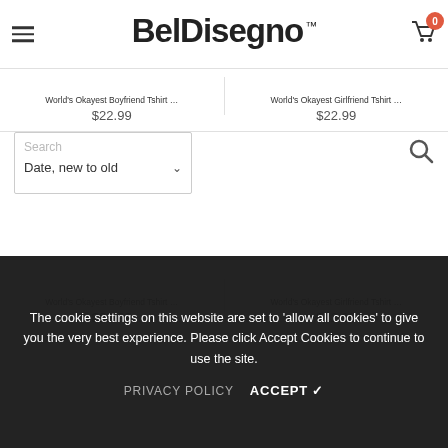BelDisegno™
World's Okayest Boyfriend Tshirt | $22.99
World's Okayest Girlfriend Tshirt | $22.99
Search — Date, new to old
World's Okayest Boyfriend Tshirt | $22.99
World's Okayest Girlfriend Tshirt | $22.99
The cookie settings on this website are set to 'allow all cookies' to give you the very best experience. Please click Accept Cookies to continue to use the site.
PRIVACY POLICY   ACCEPT ✓